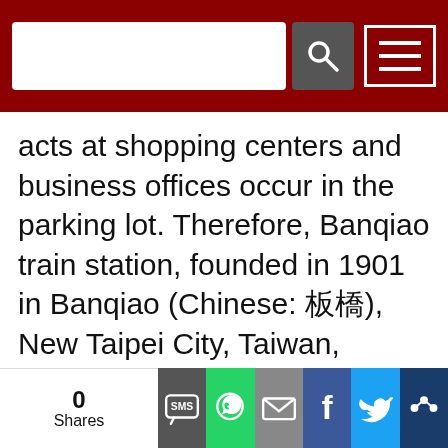[Search bar and navigation menu]
acts at shopping centers and business offices occur in the parking lot. Therefore, Banqiao train station, founded in 1901 in Banqiao (Chinese: 板橋), New Taipei City, Taiwan, recently took the necessary measure to upgrade its 3-story indoor parking facility's video surveillance system. The facility upgraded to an IP-based video system, consisting of LILIN network cameras to identify license plate numbers, perform people identification, crime prevention, and event detection. The Banqiao station parking structure has the capacity to park more than 1,000 vehicles, and it is definitely the top priority for the station management team to have reliable guards and a video surveillance system in place to detect intruders, observe activity
0 Shares [social share buttons: SMS, WhatsApp, Email, Facebook, Twitter, other]